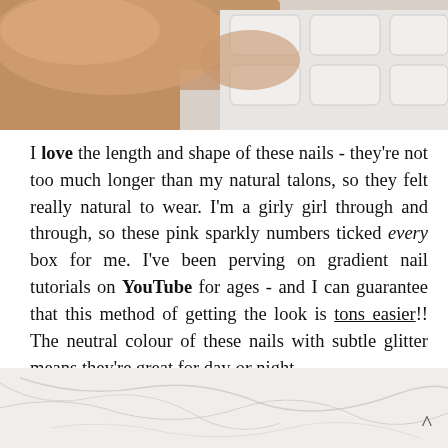[Figure (photo): Close-up photo of a finger pressing a white laptop keyboard key, shot from above.]
I love the length and shape of these nails - they're not too much longer than my natural talons, so they felt really natural to wear. I'm a girly girl through and through, so these pink sparkly numbers ticked every box for me. I've been perving on gradient nail tutorials on YouTube for ages - and I can guarantee that this method of getting the look is tons easier!! The neutral colour of these nails with subtle glitter means they're great for day or night.
[Figure (photo): Close-up photo of a white marble surface with grey veining.]